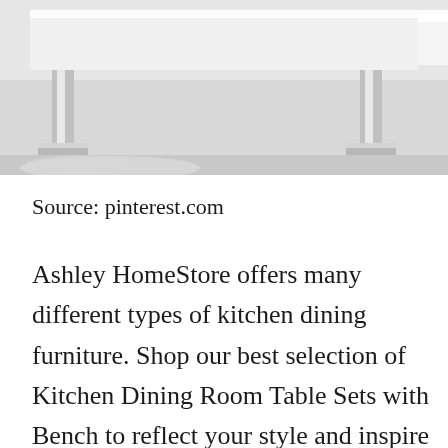[Figure (photo): Partial photo of a white bench/table with chrome/silver metal legs on a light grey carpet or floor, cropped at top showing furniture legs and base.]
Source: pinterest.com
Ashley HomeStore offers many different types of kitchen dining furniture. Shop our best selection of Kitchen Dining Room Table Sets with Bench to reflect your style and inspire your home. Perfect for family meals or activities our 2 and 3 seater benches bring a casual and [CLOSE X] g vibe to any